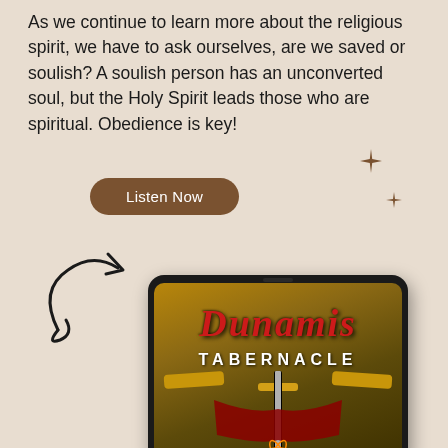As we continue to learn more about the religious spirit, we have to ask ourselves, are we saved or soulish? A soulish person has an unconverted soul, but the Holy Spirit leads those who are spiritual. Obedience is key!
[Figure (illustration): Brown rounded pill-shaped button labeled 'Listen Now' on a beige background]
[Figure (illustration): Hand-drawn black arrow and swirl doodle pointing right and upward]
[Figure (illustration): Tablet device displaying the Dunamis Tabernacle logo — a dark gold background with red gothic 'DUNAMIS' text, 'TABERNACLE' in white, a sword with red drape, and an atomic symbol at the bottom]